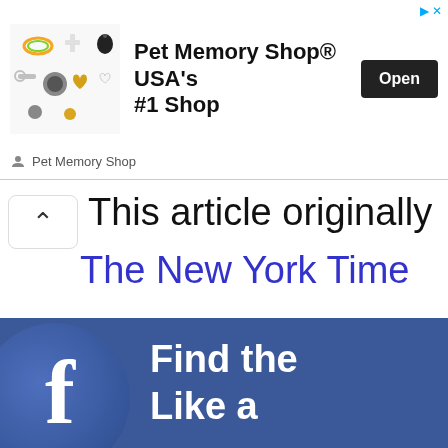[Figure (screenshot): Advertisement banner for Pet Memory Shop with jewelry charm images and Open button]
This article originally
The New York Time
[Figure (screenshot): Facebook banner with Facebook logo circle and text 'Find the' and 'Like a']